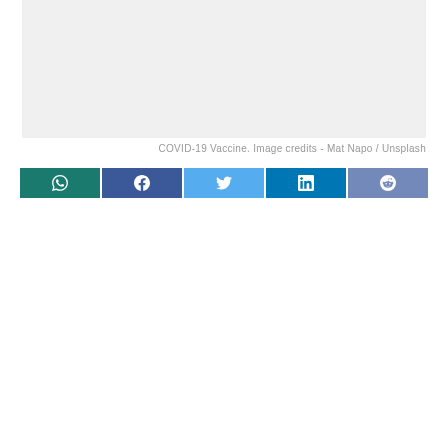[Figure (photo): COVID-19 Vaccine image placeholder with light gray background]
COVID-19 Vaccine. Image credits - Mat Napo / Unsplash
[Figure (other): Social media sharing buttons row: WhatsApp, Facebook, Twitter, LinkedIn, Reddit]